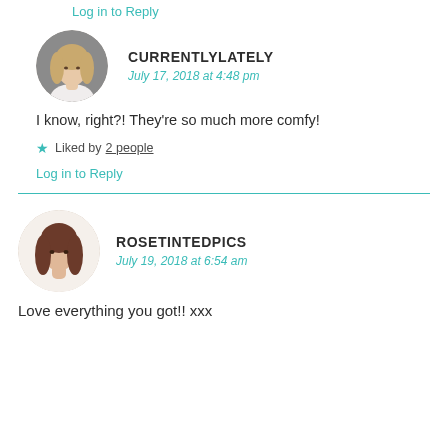Log in to Reply
[Figure (photo): Circular avatar of a young woman with long blonde hair in a white top]
CURRENTLYLATELY
July 17, 2018 at 4:48 pm
I know, right?! They're so much more comfy!
Liked by 2 people
Log in to Reply
[Figure (photo): Circular avatar of a young woman with long dark hair]
ROSETINTEDPICS
July 19, 2018 at 6:54 am
Love everything you got!! xxx